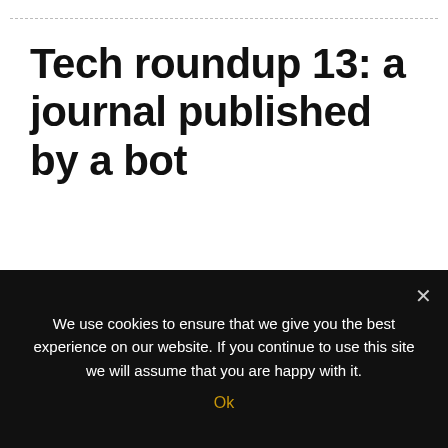Tech roundup 13: a journal published by a bot
Read a tech roundup with this week’s news that our powerful bot has chosen: blockchain, AI, development, corporates and more.
Gooooooood morning, Readers!!! Hey, this is not
We use cookies to ensure that we give you the best experience on our website. If you continue to use this site we will assume that you are happy with it.
Ok